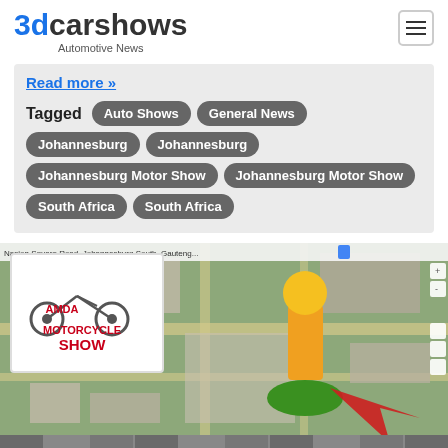3dcarshows — Automotive News
Read more »
Tagged  Auto Shows  General News  Johannesburg  Johannesburg  Johannesburg Motor Show  Johannesburg Motor Show  South Africa  South Africa
[Figure (screenshot): Screenshot of a map showing Johannesburg South area with a Google Street View pegman icon dropped on the map. Overlaid in the top-left corner is an AMDA Motorcycle Show logo showing a stylized motorcycle graphic with red text 'MOTORCYCLE SHOW'.]